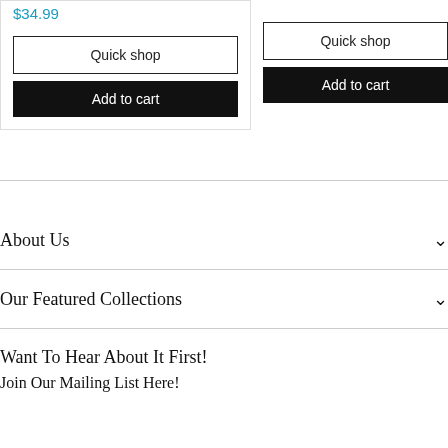$34.99
Quick shop
Add to cart
Quick shop
Add to cart
About Us
Our Featured Collections
Want To Hear About It First!
Join Our Mailing List Here!